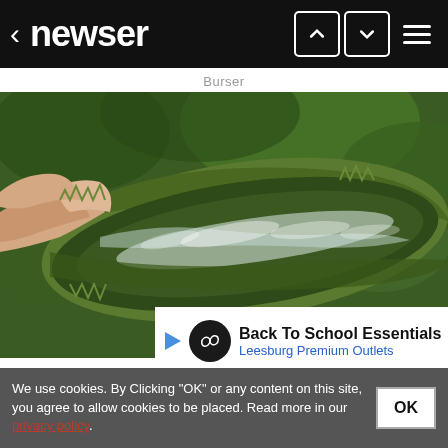< newser
Burser
[Figure (photo): A hand holding an open aloe vera leaf showing the clear gel inside, with a green leafy background. The leaf is split open horizontally revealing white/clear gel substance along the interior.]
Back To School Essentials
Leesburg Premium Outlets
Men: Fo... azy! (Do This)
We use cookies. By Clicking "OK" or any content on this site, you agree to allow cookies to be placed. Read more in our privacy policy.